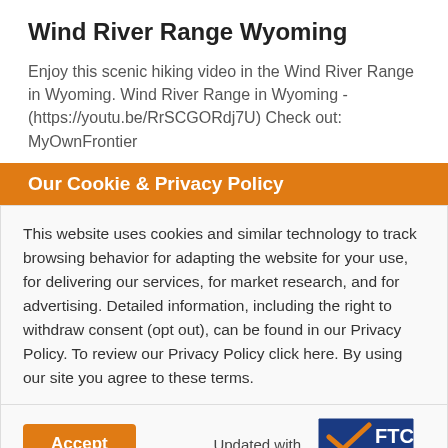Wind River Range Wyoming
Enjoy this scenic hiking video in the Wind River Range in Wyoming. Wind River Range in Wyoming - (https://youtu.be/RrSCGORdj7U) Check out: MyOwnFrontier
Our Cookie & Privacy Policy
This website uses cookies and similar technology to track browsing behavior for adapting the website for your use, for delivering our services, for market research, and for advertising. Detailed information, including the right to withdraw consent (opt out), can be found in our Privacy Policy. To review our Privacy Policy click here. By using our site you agree to these terms.
Accept
Updated with FTC GUARDIAN VERIFIED MEMBER